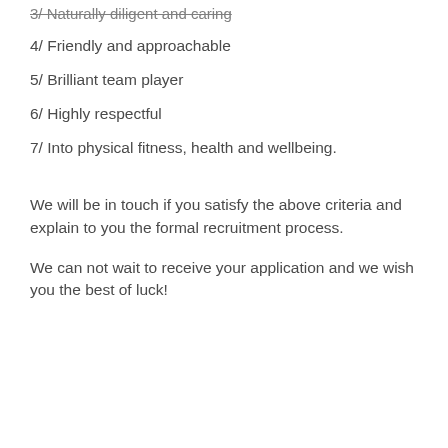3/ Naturally diligent and caring
4/ Friendly and approachable
5/ Brilliant team player
6/ Highly respectful
7/ Into physical fitness, health and wellbeing.
We will be in touch if you satisfy the above criteria and explain to you the formal recruitment process.
We can not wait to receive your application and we wish you the best of luck!